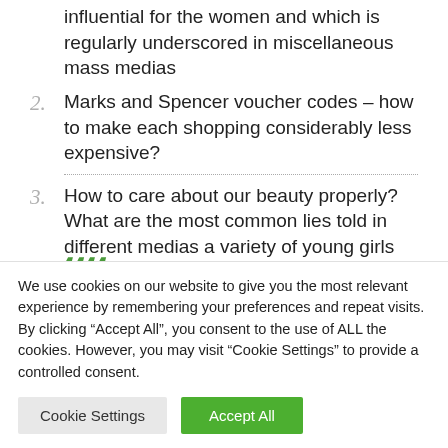influential for the women and which is regularly underscored in miscellaneous mass medias
2. Marks and Spencer voucher codes – how to make each shopping considerably less expensive?
3. How to care about our beauty properly? What are the most common lies told in different medias a variety of young girls believe
4. Promotional codes to retailers with the most trendy shoes and clothes!
We use cookies on our website to give you the most relevant experience by remembering your preferences and repeat visits. By clicking "Accept All", you consent to the use of ALL the cookies. However, you may visit "Cookie Settings" to provide a controlled consent.